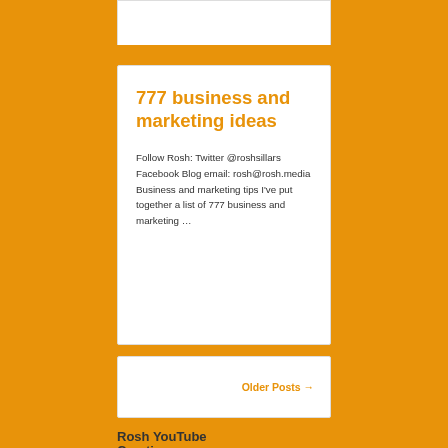777 business and marketing ideas
Follow Rosh: Twitter @roshsillars Facebook Blog email: rosh@rosh.media Business and marketing tips I've put together a list of 777 business and marketing …
Older Posts →
Rosh YouTube Creative